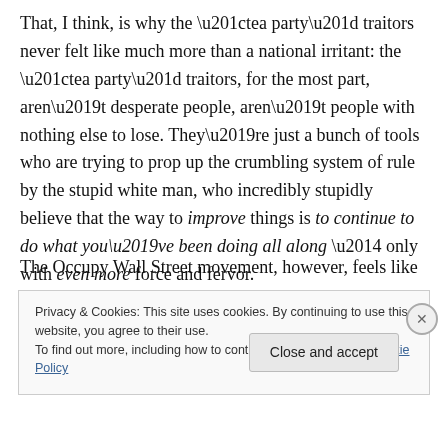That, I think, is why the “tea party” traitors never felt like much more than a national irritant: the “tea party” traitors, for the most part, aren’t desperate people, aren’t people with nothing else to lose. They’re just a bunch of tools who are trying to prop up the crumbling system of rule by the stupid white man, who incredibly stupidly believe that the way to improve things is to continue to do what you’ve been doing all along — only with even more force and fervor.
The Occupy Wall Street movement, however, feels like an
Privacy & Cookies: This site uses cookies. By continuing to use this website, you agree to their use.
To find out more, including how to control cookies, see here: Cookie Policy